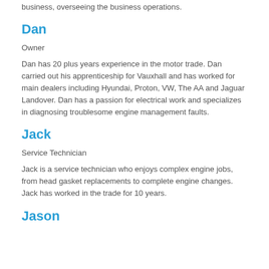business, overseeing the business operations.
Dan
Owner
Dan has 20 plus years experience in the motor trade. Dan carried out his apprenticeship for Vauxhall and has worked for main dealers including Hyundai, Proton, VW, The AA and Jaguar Landover. Dan has a passion for electrical work and specializes in diagnosing troublesome engine management faults.
Jack
Service Technician
Jack is a service technician who enjoys complex engine jobs, from head gasket replacements to complete engine changes. Jack has worked in the trade for 10 years.
Jason